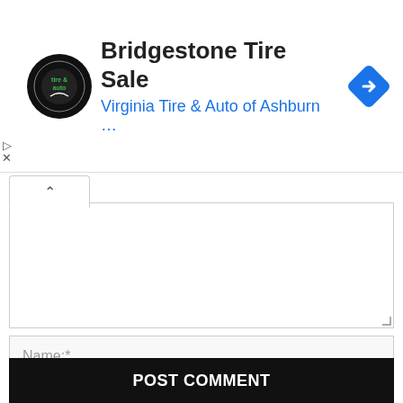[Figure (screenshot): Advertisement banner for Bridgestone Tire Sale at Virginia Tire & Auto of Ashburn, with circular logo on left, text in center, and blue navigation diamond icon on right. Play and close (X) icons on far left edge.]
Name:*
Email:*
Website:
Save my name, email, and website in this browser for the next time I comment.
POST COMMENT